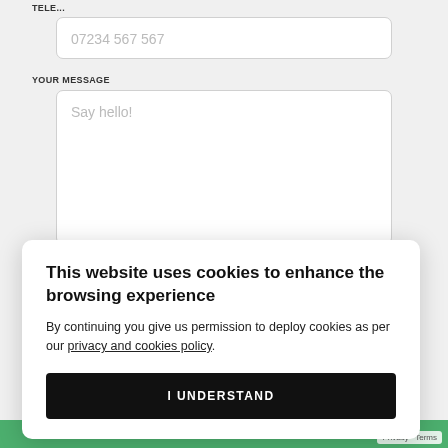07234 567 567
YOUR MESSAGE
Say hello!
This website uses cookies to enhance the browsing experience
By continuing you give us permission to deploy cookies as per our privacy and cookies policy.
I UNDERSTAND
Privacy · Terms